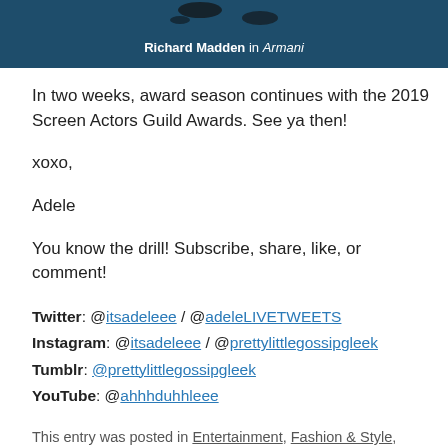[Figure (photo): Top portion of an image showing Richard Madden in Armani, dark blue background with partial figure visible]
Richard Madden in Armani
In two weeks, award season continues with the 2019 Screen Actors Guild Awards. See ya then!
xoxo,
Adele
You know the drill! Subscribe, share, like, or comment!
Twitter: @itsadeleee / @adeleLIVETWEETS
Instagram: @itsadeleee / @prettylittlegossipgleek
Tumblr: @prettylittlegossipgleek
YouTube: @ahhhduhhleee
This entry was posted in Entertainment, Fashion & Style, Lists/Favorites, Looks I Love and tagged 2019 award season.